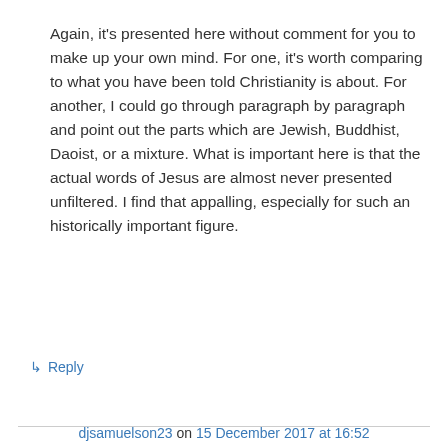Again, it's presented here without comment for you to make up your own mind. For one, it's worth comparing to what you have been told Christianity is about. For another, I could go through paragraph by paragraph and point out the parts which are Jewish, Buddhist, Daoist, or a mixture. What is important here is that the actual words of Jesus are almost never presented unfiltered. I find that appalling, especially for such an historically important figure.
↳ Reply
djsamuelson23 on 15 December 2017 at 16:52